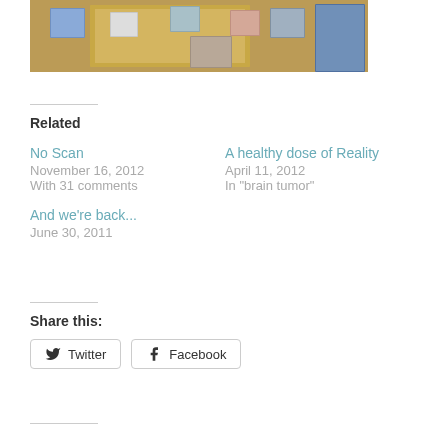[Figure (photo): Photo collage on a wooden frame background showing several small photographs of children and families]
Related
No Scan
November 16, 2012
With 31 comments
A healthy dose of Reality
April 11, 2012
In "brain tumor"
And we're back...
June 30, 2011
Share this:
Twitter  Facebook